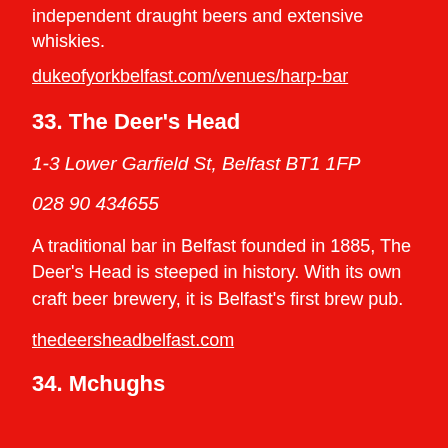independent draught beers and extensive whiskies.
dukeofyorkbelfast.com/venues/harp-bar
33. The Deer's Head
1-3 Lower Garfield St, Belfast BT1 1FP
028 90 434655
A traditional bar in Belfast founded in 1885, The Deer's Head is steeped in history. With its own craft beer brewery, it is Belfast's first brew pub.
thedeersheadbelfast.com
34. Mchughs